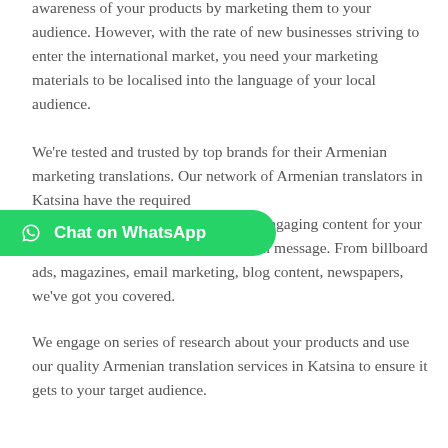awareness of your products by marketing them to your audience. However, with the rate of new businesses striving to enter the international market, you need your marketing materials to be localised into the language of your local audience.
We're tested and trusted by top brands for their Armenian marketing translations. Our network of Armenian translators in Katsina have the required [Chat on WhatsApp button overlay] best engaging content for your brand. While shifting from your initial message. From billboard ads, magazines, email marketing, blog content, newspapers, we've got you covered.
We engage on series of research about your products and use our quality Armenian translation services in Katsina to ensure it gets to your target audience.